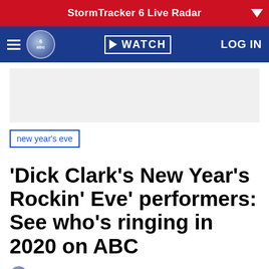StormTracker 6 Live Radar
WATCH | LOG IN
new year's eve
'Dick Clark's New Year's Rockin' Eve' performers: See who's ringing in 2020 on ABC